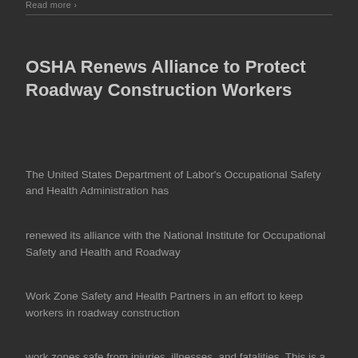Read more >
OSHA Renews Alliance to Protect Roadway Construction Workers
The United States Department of Labor's Occupational Safety and Health Administration has renewed its alliance with the National Institute for Occupational Safety and Health and Roadway Work Zone Safety and Health Partners in an effort to keep workers in roadway construction work zones safe from injuries, illnesses, and fatalities. This is a five year alliance which focuses on [...]